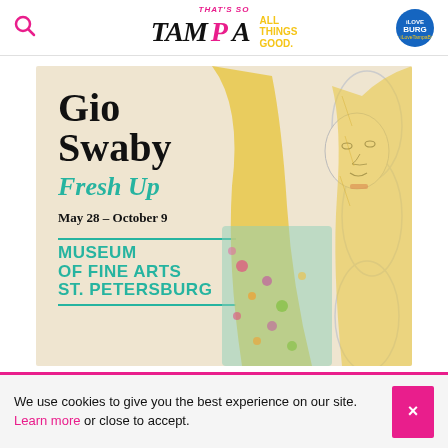THAT'S SO TAMPA ALL THINGS GOOD.
[Figure (illustration): Gio Swaby Fresh Up exhibition advertisement for Museum of Fine Arts St. Petersburg, May 28 – October 9. Features artwork of a woman with braids wearing a floral top on a beige background.]
We use cookies to give you the best experience on our site. Learn more or close to accept.